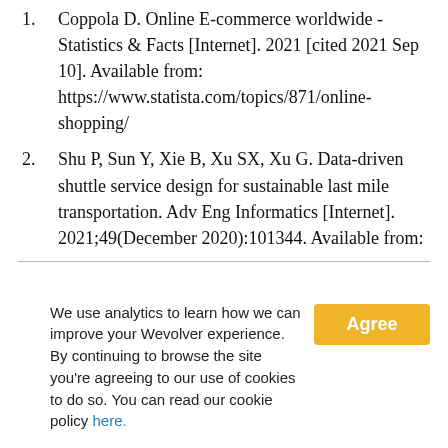1.   Coppola D. Online E-commerce worldwide - Statistics & Facts [Internet]. 2021 [cited 2021 Sep 10]. Available from: https://www.statista.com/topics/871/online-shopping/
2.   Shu P, Sun Y, Xie B, Xu SX, Xu G. Data-driven shuttle service design for sustainable last mile transportation. Adv Eng Informatics [Internet]. 2021;49(December 2020):101344. Available from:
We use analytics to learn how we can improve your Wevolver experience. By continuing to browse the site you're agreeing to our use of cookies to do so. You can read our cookie policy here.